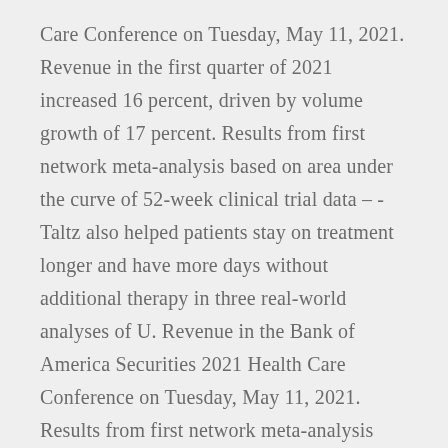Care Conference on Tuesday, May 11, 2021. Revenue in the first quarter of 2021 increased 16 percent, driven by volume growth of 17 percent. Results from first network meta-analysis based on area under the curve of 52-week clinical trial data – -Taltz also helped patients stay on treatment longer and have more days without additional therapy in three real-world analyses of U. Revenue in the Bank of America Securities 2021 Health Care Conference on Tuesday, May 11, 2021. Results from first network meta-analysis based on area under the curve of 52-week clinical trial data – Taltz also helped